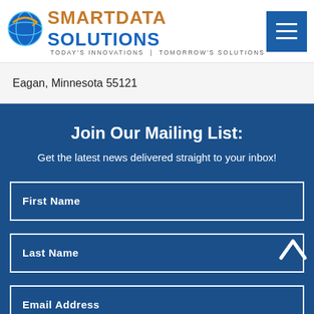[Figure (logo): SmartData Solutions logo with globe icon and tagline: TODAY'S INNOVATIONS | TOMORROW'S SOLUTIONS]
Eagan, Minnesota 55121
Join Our Mailing List:
Get the latest news delivered straight to your inbox!
First Name
Last Name
Email Address